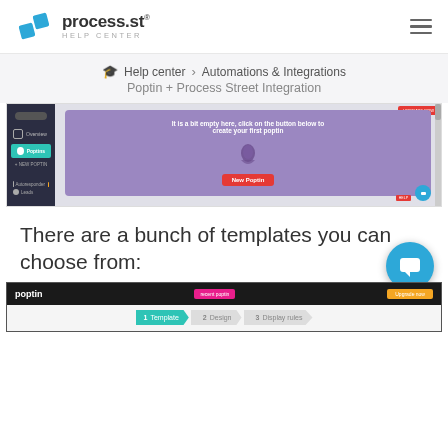[Figure (logo): process.st HELP CENTER logo with blue diamond icon and hamburger menu on the right]
Help center > Automations & Integrations
Poptin + Process Street Integration
[Figure (screenshot): Poptin dashboard screenshot showing empty state with message 'It is a bit empty here, click on the button below to create your first poptin' and a 'New Poptin' red button]
There are a bunch of templates you can choose from:
[Figure (screenshot): Poptin template selection screen showing header bar with 'poptin' logo, 'Upgrade now' button, and step wizard showing Template > Design > Display rules]